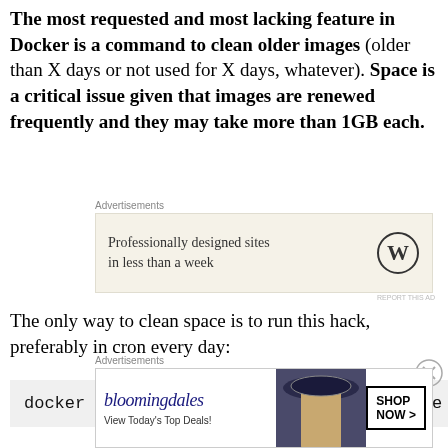The most requested and most lacking feature in Docker is a command to clean older images (older than X days or not used for X days, whatever). Space is a critical issue given that images are renewed frequently and they may take more than 1GB each.
[Figure (other): Advertisement: WordPress ad - Professionally designed sites in less than a week]
The only way to clean space is to run this hack, preferably in cron every day:
docker images -q -a | xargs --no-run-if-e
[Figure (other): Advertisement: Bloomingdales - View Today's Top Deals! SHOP NOW >]